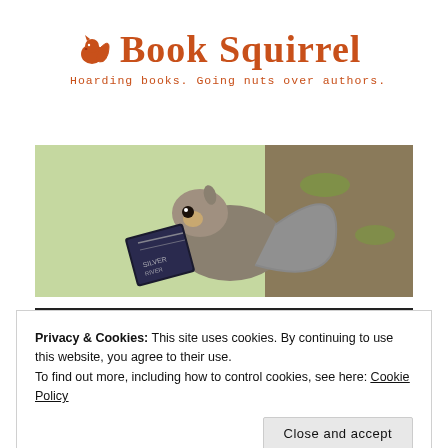[Figure (logo): Book Squirrel logo with squirrel icon and text 'Book Squirrel' in orange, tagline 'Hoarding books. Going nuts over authors.' in orange monospace]
[Figure (photo): Banner photo of a grey squirrel on a tree holding a dark book, green blurred background]
Privacy & Cookies: This site uses cookies. By continuing to use this website, you agree to their use.
To find out more, including how to control cookies, see here: Cookie Policy
Close and accept
Book Review: ‘Severn’ by